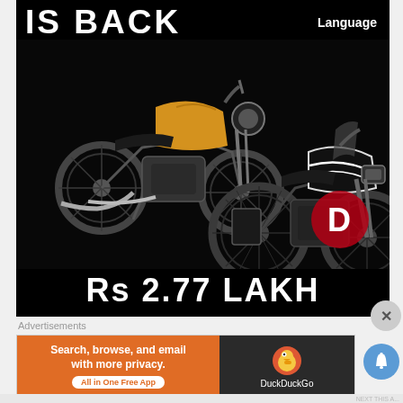IS BACK
Language
[Figure (photo): Two motorcycles on black background — a yellow Royal Enfield scrambler (front, top-left) and a dark adventure-touring motorcycle (rear, center-right). A red 'D' logo appears in the bottom-right corner of the image.]
Rs 2.77 LAKH
Advertisements
[Figure (other): DuckDuckGo advertisement banner. Left orange section: 'Search, browse, and email with more privacy. All in One Free App'. Right dark section: DuckDuckGo duck logo and 'DuckDuckGo' text.]
NEXT THIS A...